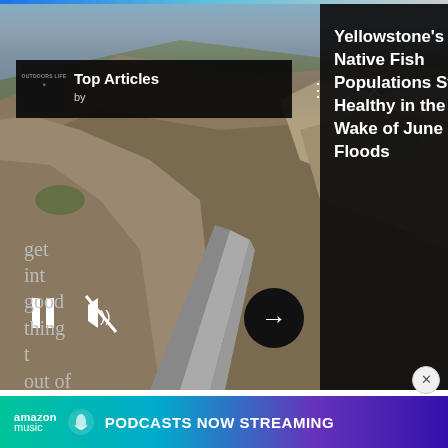[Figure (screenshot): Screenshot of a webpage showing a mountain road photo with 'Top Articles by OutdoorLife' overlay panel on left and a dark right panel with article title 'Yellowstone's Native Fish Populations Still Healthy in the Wake of June Floods'. Media playback controls (pause, mute) and arrow navigation button visible.]
frequencies of the collars on local grizzlies' necks by his right hand. I glance down and see that they have handles like Dex, Beenie, and Bonita. I look out the window, knowing the bears could be anywhere from the snow-capped Rockies on our left to the flat plains and grain fields on our right.
I've asked Madel to help me answer questions about these grizzlies: where they roam, how and why they
get int… good thing t… out of
[Figure (screenshot): Amazon Music advertisement banner: 'amazon music PODCASTS NOW STREAMING' on gradient background from teal to purple]